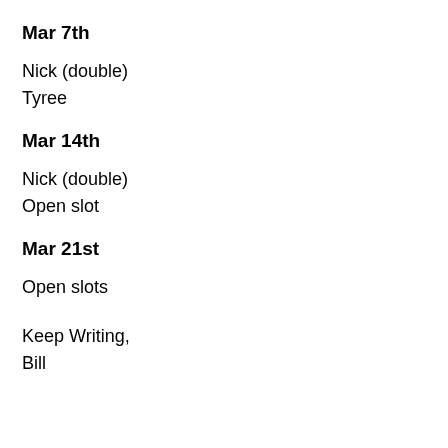Mar 7th
Nick (double)
Tyree
Mar 14th
Nick (double)
Open slot
Mar 21st
Open slots
Keep Writing,
Bill